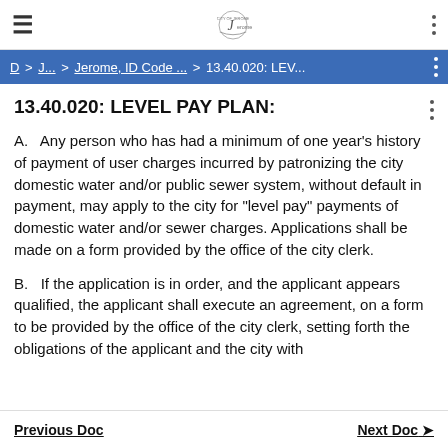≡  [Jerome City Logo]  ⋮
D > J... > Jerome, ID Code ... > 13.40.020: LEV... ⋮
13.40.020: LEVEL PAY PLAN:
A.   Any person who has had a minimum of one year's history of payment of user charges incurred by patronizing the city domestic water and/or public sewer system, without default in payment, may apply to the city for "level pay" payments of domestic water and/or sewer charges. Applications shall be made on a form provided by the office of the city clerk.
B.   If the application is in order, and the applicant appears qualified, the applicant shall execute an agreement, on a form to be provided by the office of the city clerk, setting forth the obligations of the applicant and the city with
Previous Doc    Next Doc >